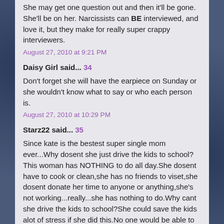She may get one question out and then it'll be gone. She'll be on her. Narcissists can BE interviewed, and love it, but they make for really super crappy interviewers.
August 27, 2010 at 9:21 PM
Daisy Girl said... 34
Don't forget she will have the earpiece on Sunday or she wouldn't know what to say or who each person is.
August 27, 2010 at 10:29 PM
Starz22 said... 35
Since kate is the bestest super single mom ever...Why dosent she just drive the kids to school? This woman has NOTHING to do all day.She dosent have to cook or clean,she has no friends to viset,she dosent donate her time to anyone or anything,she's not working...really...she has nothing to do.Why cant she drive the kids to school?She could save the kids alot of stress if she did this.No one would be able to